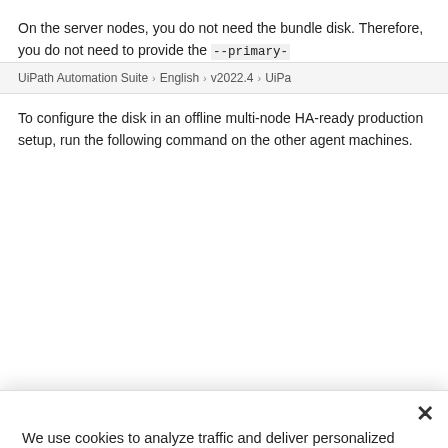On the server nodes, you do not need the bundle disk. Therefore, you do not need to provide the --primary- ...
UiPath Automation Suite > English > v2022.4 > UiPa...
To configure the disk in an offline multi-node HA-ready production setup, run the following command on the other agent machines.
We use cookies to analyze traffic and deliver personalized content. Click “Ok, got it” or simply close this banner to allow the all cookies. Click “View cookie settings” to allow certain categories of cookies. Update your cookie settings any time from our Cookie Policy.
Ok, got it
View cookie settings